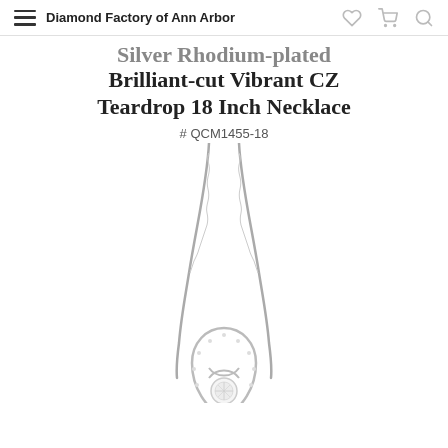Diamond Factory of Ann Arbor
Silver Rhodium-plated Brilliant-cut Vibrant CZ Teardrop 18 Inch Necklace
# QCM1455-18
[Figure (photo): Photo of a silver rhodium-plated necklace with a teardrop-shaped CZ pendant, showing a delicate chain and a pear-shaped setting with brilliant-cut cubic zirconia stones.]